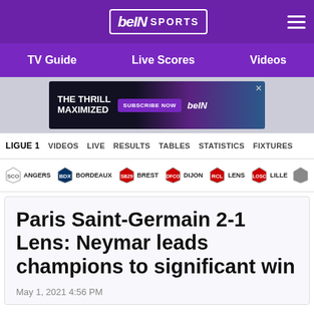[Figure (logo): beIN SPORTS logo in white text on purple background]
TV Guide  Live Scores  Videos
[Figure (infographic): beIN Sports advertisement banner: THE THRILL MAXIMIZED - SUBSCRIBE NOW]
LIGUE 1  VIDEOS  LIVE  RESULTS  TABLES  STATISTICS  FIXTURES
[Figure (infographic): Team logos row: Angers, Bordeaux, Brest, Dijon, Lens, Lille, and more]
Paris Saint-Germain 2-1 Lens: Neymar leads champions to significant win
May 1, 2021 4:56 PM